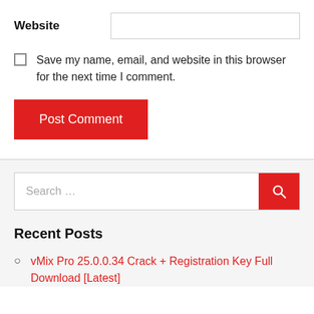Website
Save my name, email, and website in this browser for the next time I comment.
Post Comment
Search …
Recent Posts
vMix Pro 25.0.0.34 Crack + Registration Key Full Download [Latest]